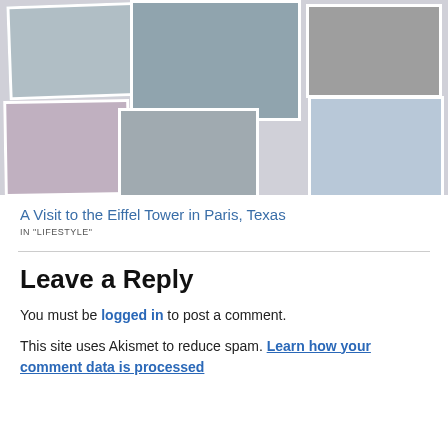[Figure (photo): Photo collage of visits to the Eiffel Tower in Paris, Texas — six photos showing the metal Eiffel Tower replica and two women posing with it]
A Visit to the Eiffel Tower in Paris, Texas
IN "LIFESTYLE"
Leave a Reply
You must be logged in to post a comment.
This site uses Akismet to reduce spam. Learn how your comment data is processed